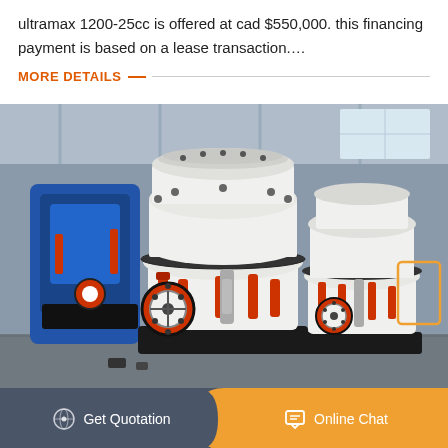ultramax 1200-25cc is offered at cad $550,000. this financing payment is based on a lease transaction....
MORE DETAILS
[Figure (photo): Industrial cone crushers in a factory setting. Large white and red heavy mining/crushing equipment with hydraulic cylinders, a blue machine visible in the background, photographed inside a large steel-framed industrial warehouse.]
Get Quotation
Online Chat